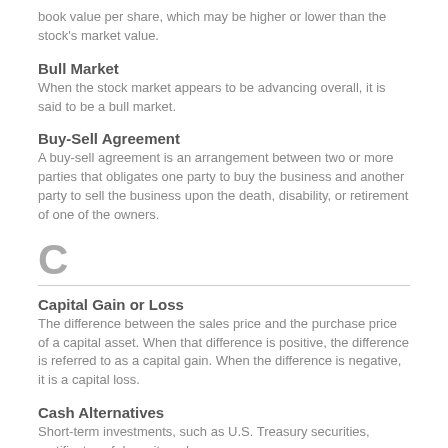book value per share, which may be higher or lower than the stock's market value.
Bull Market
When the stock market appears to be advancing overall, it is said to be a bull market.
Buy-Sell Agreement
A buy-sell agreement is an arrangement between two or more parties that obligates one party to buy the business and another party to sell the business upon the death, disability, or retirement of one of the owners.
C
Capital Gain or Loss
The difference between the sales price and the purchase price of a capital asset. When that difference is positive, the difference is referred to as a capital gain. When the difference is negative, it is a capital loss.
Cash Alternatives
Short-term investments, such as U.S. Treasury securities, certificates of deposit, and money